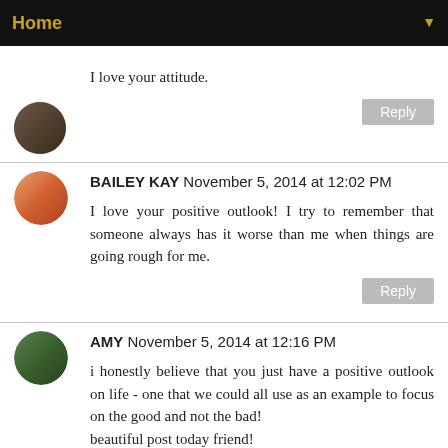Home ▼
I love your attitude.
Reply
BAILEY KAY November 5, 2014 at 12:02 PM
I love your positive outlook! I try to remember that someone always has it worse than me when things are going rough for me.
Reply
AMY November 5, 2014 at 12:16 PM
i honestly believe that you just have a positive outlook on life - one that we could all use as an example to focus on the good and not the bad!
beautiful post today friend!